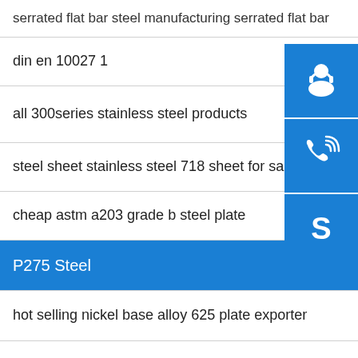serrated flat bar steel manufacturing serrated flat bar
din en 10027 1
all 300series stainless steel products
steel sheet stainless steel 718 sheet for sale
cheap astm a203 grade b steel plate
P275 Steel
hot selling nickel base alloy 625 plate exporter
alibaba express products equal angle steel
tisco cold rolled 43ba coil price